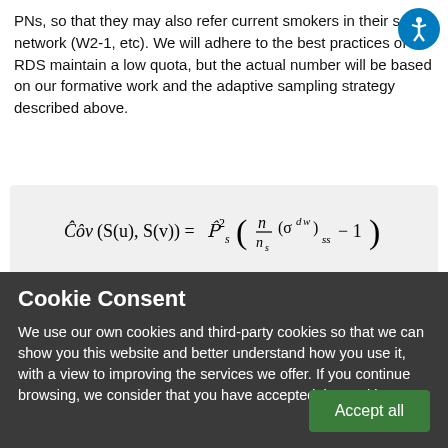PNs, so that they may also refer current smokers in their social network (W2-1, etc). We will adhere to the best practices of RDS maintain a low quota, but the actual number will be based on our formative work and the adaptive sampling strategy described above.
Figure 1. Equation for covariance between sample units in a chain-referral design.
Cookie Consent
We use our own cookies and third-party cookies so that we can show you this website and better understand how you use it, with a view to improving the services we offer. If you continue browsing, we consider that you have accepted the cookies.